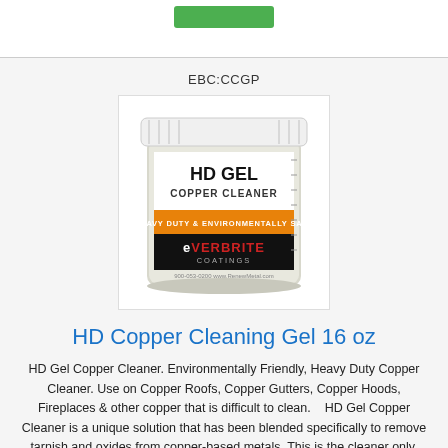[Figure (other): Green button at the top of the page]
EBC:CCGP
[Figure (photo): HD Gel Copper Cleaner product jar with white lid and label showing HD GEL COPPER CLEANER, HEAVY DUTY & ENVIRONMENTALLY SAFE, EVERBRITE COATINGS]
HD Copper Cleaning Gel 16 oz
HD Gel Copper Cleaner. Environmentally Friendly, Heavy Duty Copper Cleaner. Use on Copper Roofs, Copper Gutters, Copper Hoods, Fireplaces & other copper that is difficult to clean.   HD Gel Copper Cleaner is a unique solution that has been blended specifically to remove tarnish and oxides from copper-based metals. This is the cleaner only, this Gel does not keep copper